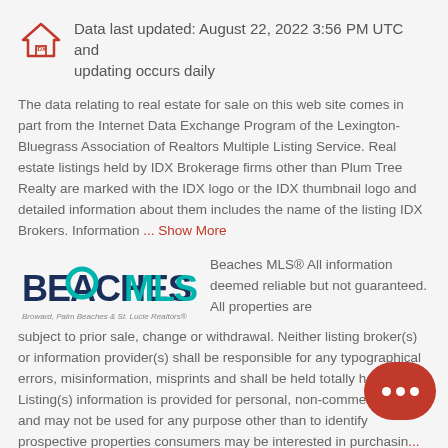[Figure (logo): IDX logo - house icon with IDX text]
Data last updated: August 22, 2022 3:56 PM UTC and updating occurs daily
The data relating to real estate for sale on this web site comes in part from the Internet Data Exchange Program of the Lexington-Bluegrass Association of Realtors Multiple Listing Service. Real estate listings held by IDX Brokerage firms other than Plum Tree Realty are marked with the IDX logo or the IDX thumbnail logo and detailed information about them includes the name of the listing IDX Brokers. Information ... Show More
[Figure (logo): Beaches MLS logo - Broward, Palm Beaches & St. Lucie Realtors]
Beaches MLS® All information deemed reliable but not guaranteed. All properties are subject to prior sale, change or withdrawal. Neither listing broker(s) or information provider(s) shall be responsible for any typographical errors, misinformation, misprints and shall be held totally harmless. Listing(s) information is provided for personal, non-commercial use and may not be used for any purpose other than to identify prospective properties consumers may be interested in purchasin... Show More